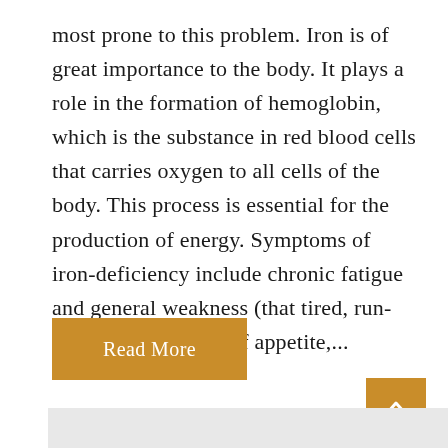most prone to this problem. Iron is of great importance to the body. It plays a role in the formation of hemoglobin, which is the substance in red blood cells that carries oxygen to all cells of the body. This process is essential for the production of energy. Symptoms of iron-deficiency include chronic fatigue and general weakness (that tired, run-down feeling), loss of appetite,...
Read More
[Figure (other): Scroll-to-top button with upward arrow chevron, golden/amber background]
[Figure (other): Light gray content area bar at bottom of page]